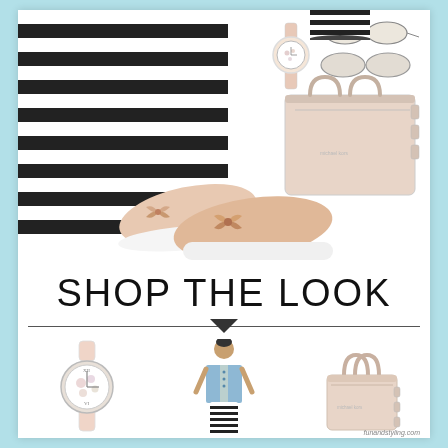[Figure (photo): Fashion collage showing a striped dress/outfit with black and white horizontal stripes, blush pink bow sneakers, blush handbag, sunglasses, and floral watch accessories arranged as a style mood board]
SHOP THE LOOK
[Figure (photo): Three product photos: a floral dial blush leather strap watch (Olivia Burton style), a woman wearing a black and white striped dress with denim vest jacket, and a blush pink structured tote handbag]
funandstyling.com